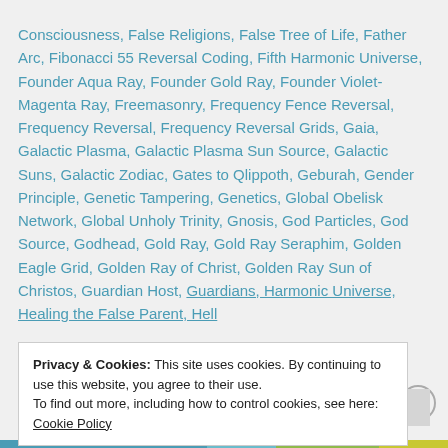Consciousness, False Religions, False Tree of Life, Father Arc, Fibonacci 55 Reversal Coding, Fifth Harmonic Universe, Founder Aqua Ray, Founder Gold Ray, Founder Violet-Magenta Ray, Freemasonry, Frequency Fence Reversal, Frequency Reversal, Frequency Reversal Grids, Gaia, Galactic Plasma, Galactic Plasma Sun Source, Galactic Suns, Galactic Zodiac, Gates to Qlippoth, Geburah, Gender Principle, Genetic Tampering, Genetics, Global Obelisk Network, Global Unholy Trinity, Gnosis, God Particles, God Source, Godhead, Gold Ray, Gold Ray Seraphim, Golden Eagle Grid, Golden Ray of Christ, Golden Ray Sun of Christos, Guardian Host, Guardians, Harmonic Universe, Healing the False Parent, Hell
Privacy & Cookies: This site uses cookies. By continuing to use this website, you agree to their use.
To find out more, including how to control cookies, see here: Cookie Policy
Close and accept